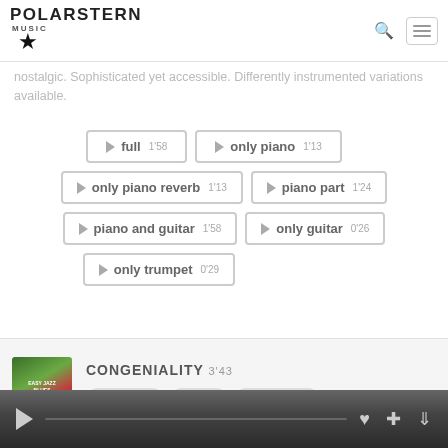POLARSTERN MUSIC
nostalgic. Sophisticated yet accessible. Differently instrumented variations available.
full 1'58
only piano 1'13
only piano reverb 1'13
piano part 1'24
piano and guitar 1'58
only guitar 0'26
only trumpet 0'29
CONGENIALITY 3'43
favourite  add  download